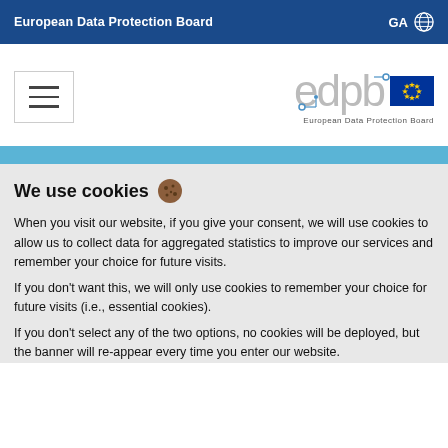European Data Protection Board | GA [globe icon]
[Figure (logo): EDPB logo with EU flag and text European Data Protection Board, plus hamburger menu icon]
We use cookies 🍪
When you visit our website, if you give your consent, we will use cookies to allow us to collect data for aggregated statistics to improve our services and remember your choice for future visits.
If you don't want this, we will only use cookies to remember your choice for future visits (i.e., essential cookies).
If you don't select any of the two options, no cookies will be deployed, but the banner will re-appear every time you enter our website.